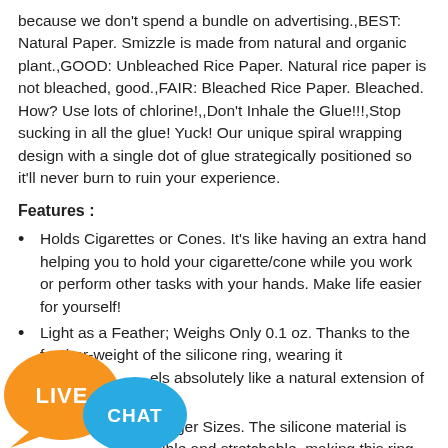because we don't spend a bundle on advertising.,BEST: Natural Paper. Smizzle is made from natural and organic plant.,GOOD: Unbleached Rice Paper. Natural rice paper is not bleached, good.,FAIR: Bleached Rice Paper. Bleached. How? Use lots of chlorine!,,Don't Inhale the Glue!!!,Stop sucking in all the glue! Yuck! Our unique spiral wrapping design with a single dot of glue strategically positioned so it'll never burn to ruin your experience.
Features :
Holds Cigarettes or Cones. It's like having an extra hand helping you to hold your cigarette/cone while you work or perform other tasks with your hands. Make life easier for yourself!
Light as a Feather; Weighs Only 0.1 oz. Thanks to the feather-weight of the silicone ring, wearing it feels absolutely like a natural extension of your
st Finger Sizes. The silicone material is flexible and stretchable, making this ring one-size-
[Figure (illustration): Live Chat button badge with orange bubble labeled LIVE and blue bubble labeled CHAT]